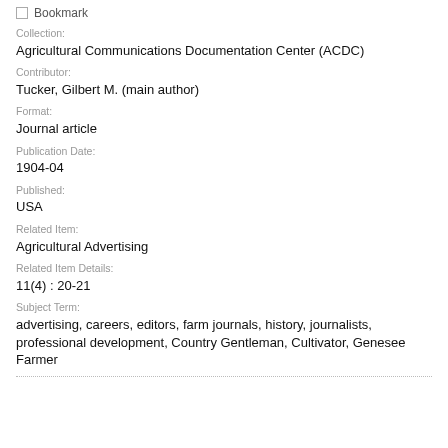Bookmark
Collection:
Agricultural Communications Documentation Center (ACDC)
Contributor:
Tucker, Gilbert M. (main author)
Format:
Journal article
Publication Date:
1904-04
Published:
USA
Related Item:
Agricultural Advertising
Related Item Details:
11(4) : 20-21
Subject Term:
advertising, careers, editors, farm journals, history, journalists, professional development, Country Gentleman, Cultivator, Genesee Farmer